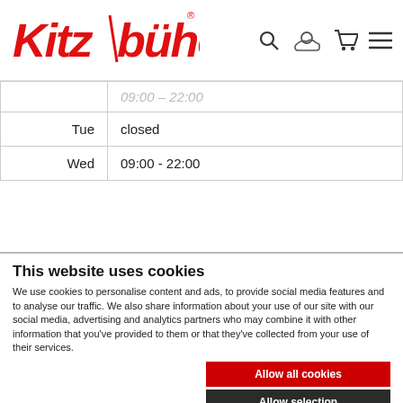Kitzbühel website header with logo and navigation icons
| Day | Hours |
| --- | --- |
|  | 09:00 – 22:00 |
| Tue | closed |
| Wed | 09:00 - 22:00 |
This website uses cookies
We use cookies to personalise content and ads, to provide social media features and to analyse our traffic. We also share information about your use of our site with our social media, advertising and analytics partners who may combine it with other information that you've provided to them or that they've collected from your use of their services.
Allow all cookies
Allow selection
Use necessary cookies only
Necessary  Preferences  Statistics  Marketing  Show details